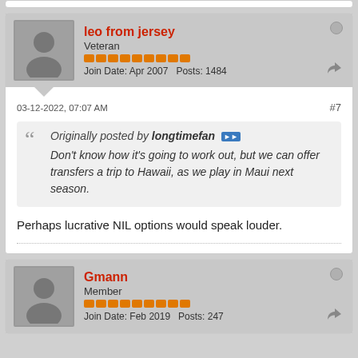leo from jersey
Veteran
Join Date: Apr 2007   Posts: 1484
03-12-2022, 07:07 AM
#7
Originally posted by longtimefan
Don't know how it's going to work out, but we can offer transfers a trip to Hawaii, as we play in Maui next season.
Perhaps lucrative NIL options would speak louder.
Gmann
Member
Join Date: Feb 2019   Posts: 247